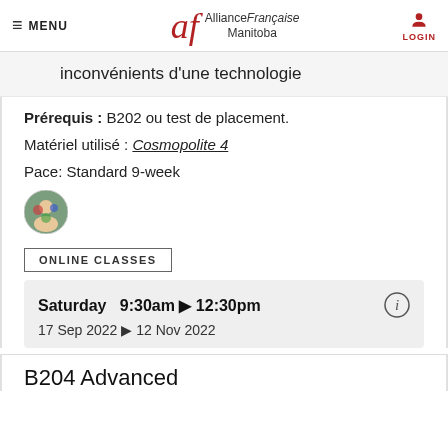≡ MENU | Alliance Française Manitoba | LOGIN
inconvénients d'une technologie
Prérequis : B202 ou test de placement.
Matériel utilisé : Cosmopolite 4
Pace: Standard 9-week
[Figure (photo): Small circular avatar photo of a person]
ONLINE CLASSES
Saturday  9:30am ▶ 12:30pm
17 Sep 2022 ▶ 12 Nov 2022
B204 Advanced